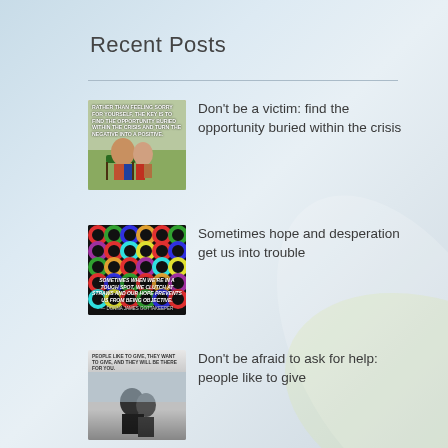Recent Posts
Don't be a victim: find the opportunity buried within the crisis
Sometimes hope and desperation get us into trouble
Don't be afraid to ask for help: people like to give